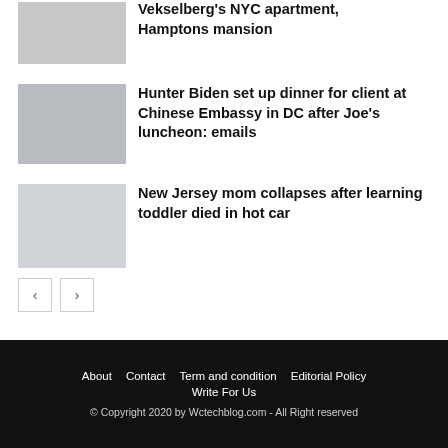[Figure (photo): Thumbnail image for Vekselberg NYC apartment article]
Vekselberg's NYC apartment, Hamptons mansion
[Figure (photo): Thumbnail showing two men]
Hunter Biden set up dinner for client at Chinese Embassy in DC after Joe's luncheon: emails
[Figure (photo): Blurred light-colored thumbnail]
New Jersey mom collapses after learning toddler died in hot car
About   Contact   Term and condition   Editorial Policy   Write For Us
© Copyright 2020 by Wctechblog.com - All Right reserved